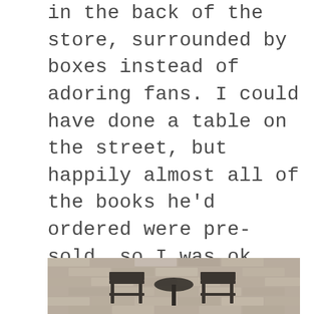in the back of the store, surrounded by boxes instead of adoring fans. I could have done a table on the street, but happily almost all of the books he'd ordered were pre-sold, so I was ok communing with the pre–order sheets and smiling about all the friends who had ordered copies. I had carefully researched signing pens and purchased a whole box of them months ago, but of course I forgot them, so a quick trip to Target got me both black and metallic– I hadn't seen the book in person so I wasn't sure where I would sign or what would look best against the paper. I decided on basic black.
[Figure (photo): A photograph showing outdoor patio furniture including chairs on what appears to be a brick or stone patio surface, viewed from a slightly elevated angle.]